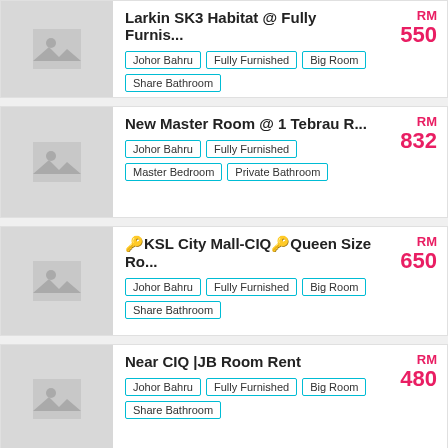[Figure (photo): Placeholder image for listing 1]
Larkin SK3 Habitat @ Fully Furnis...
Johor Bahru | Fully Furnished | Big Room | Share Bathroom
RM 550
[Figure (photo): Placeholder image for listing 2]
New Master Room @ 1 Tebrau R...
Johor Bahru | Fully Furnished | Master Bedroom | Private Bathroom
RM 832
[Figure (photo): Placeholder image for listing 3]
🔑KSL City Mall-CIQ🔑Queen Size Ro...
Johor Bahru | Fully Furnished | Big Room | Share Bathroom
RM 650
[Figure (photo): Placeholder image for listing 4]
Near CIQ |JB Room Rent
Johor Bahru | Fully Furnished | Big Room | Share Bathroom
RM 480
[Figure (photo): Placeholder image for listing 5 (partial)]